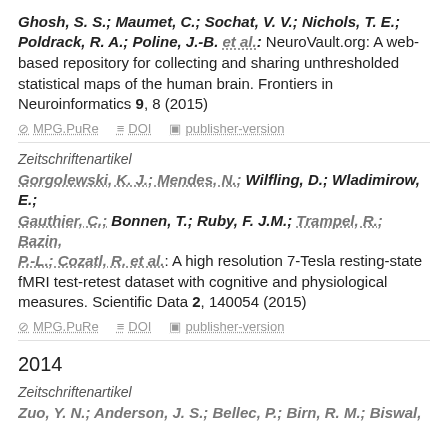Ghosh, S. S.; Maumet, C.; Sochat, V. V.; Nichols, T. E.; Poldrack, R. A.; Poline, J.-B. et al.: NeuroVault.org: A web-based repository for collecting and sharing unthresholded statistical maps of the human brain. Frontiers in Neuroinformatics 9, 8 (2015)
MPG.PuRe   DOI   publisher-version
Zeitschriftenartikel
Gorgolewski, K. J.; Mendes, N.; Wilfling, D.; Wladimirow, E.; Gauthier, C.; Bonnen, T.; Ruby, F. J.M.; Trampel, R.; Bazin, P.-L.; Cozatl, R. et al.: A high resolution 7-Tesla resting-state fMRI test-retest dataset with cognitive and physiological measures. Scientific Data 2, 140054 (2015)
MPG.PuRe   DOI   publisher-version
2014
Zeitschriftenartikel
Zuo, Y. N.; Anderson, J. S.; Bellec, P.; Birn, R. M.; Biswal,